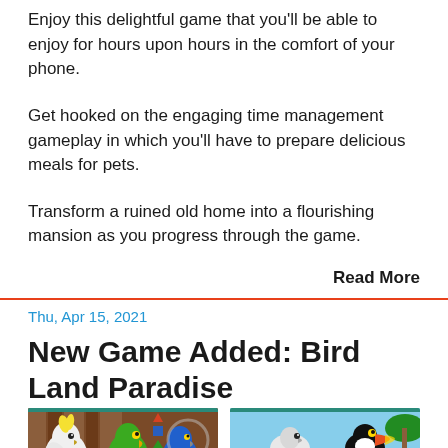Enjoy this delightful game that you'll be able to enjoy for hours upon hours in the comfort of your phone.
Get hooked on the engaging time management gameplay in which you'll have to prepare delicious meals for pets.
Transform a ruined old home into a flourishing mansion as you progress through the game.
Read More
Thu, Apr 15, 2021
New Game Added: Bird Land Paradise
[Figure (illustration): Two screenshots of Bird Land Paradise game showing colorful cartoon birds including a cockatoo, green parrot, and blue bird indoors, and birds on a branch outdoors with tropical scenery.]